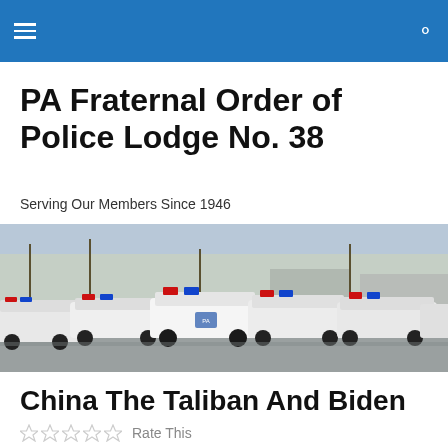PA Fraternal Order of Police Lodge No. 38
PA Fraternal Order of Police Lodge No. 38
Serving Our Members Since 1946
[Figure (photo): A row of white police patrol cars with red and blue lights on top, parked in a lot with bare trees in the background.]
China The Taliban And Biden
Rate This
“Beijing doesn’t necessarily place the same emphasis on factors the US government attributes to the future of...